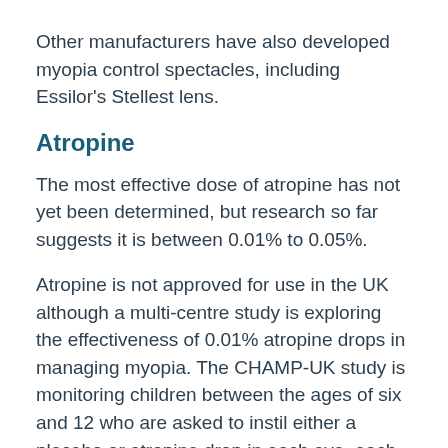Other manufacturers have also developed myopia control spectacles, including Essilor's Stellest lens.
Atropine
The most effective dose of atropine has not yet been determined, but research so far suggests it is between 0.01% to 0.05%.
Atropine is not approved for use in the UK although a multi-centre study is exploring the effectiveness of 0.01% atropine drops in managing myopia. The CHAMP-UK study is monitoring children between the ages of six and 12 who are asked to instil either a placebo or atropine drop in each eye, each day, for two years. CHAMP-UK (https://University-based